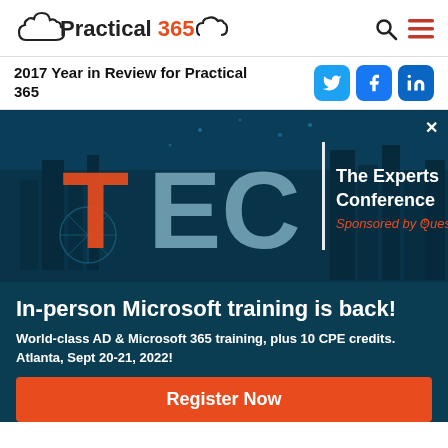Practical 365
2017 Year in Review for Practical 365
[Figure (screenshot): TEC – The Experts Conference banner with city skyline background, orange T, light blue EC letters, white vertical bar, and 'Sponsored by Quest' text.]
In-person Microsoft training is back!
World-class AD & Microsoft 365 training, plus 10 CPE credits.
Atlanta, Sept 20-21, 2022!
Register Now